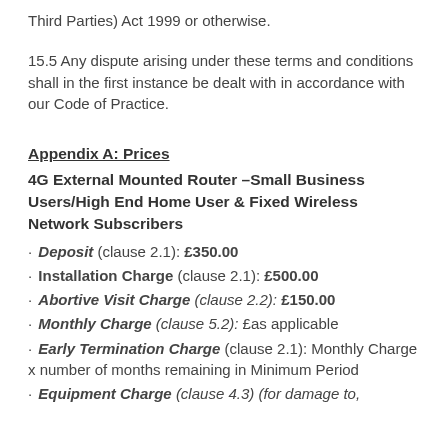Third Parties) Act 1999 or otherwise.
15.5 Any dispute arising under these terms and conditions shall in the first instance be dealt with in accordance with our Code of Practice.
Appendix A: Prices
4G External Mounted Router –Small Business Users/High End Home User & Fixed Wireless Network Subscribers
Deposit (clause 2.1): £350.00
Installation Charge (clause 2.1): £500.00
Abortive Visit Charge (clause 2.2): £150.00
Monthly Charge (clause 5.2): £as applicable
Early Termination Charge (clause 2.1): Monthly Charge x number of months remaining in Minimum Period
Equipment Charge (clause 4.3) (for damage to,